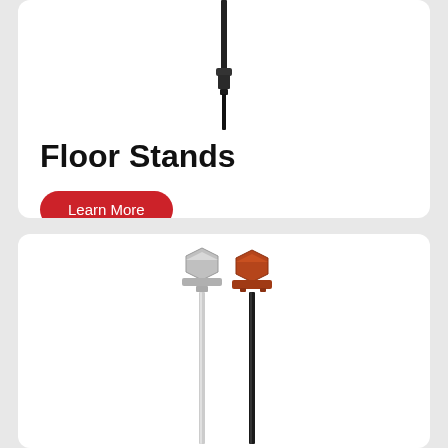[Figure (photo): A thin black cylindrical floor stand component shown vertically against a white background, partially cropped at the top.]
Floor Stands
Learn More
[Figure (photo): Two floor stand poles shown side by side. Left is a silver/chrome pole with a hex bolt head at top. Right is a black pole with an orange/brown hex head fitting at top.]